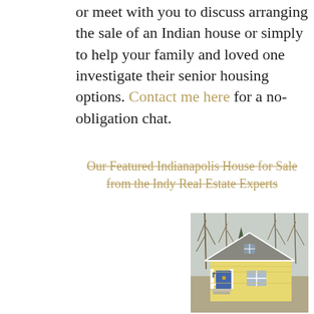or meet with you to discuss arranging the sale of an Indian house or simply to help your family and loved one investigate their senior housing options. Contact me here for a no-obligation chat.
Our Featured Indianapolis House for Sale from the Indy Real Estate Experts
[Figure (photo): Photo of a small yellow house with white trim, a covered front porch with white railing, a blue front door, and bare trees in the background.]